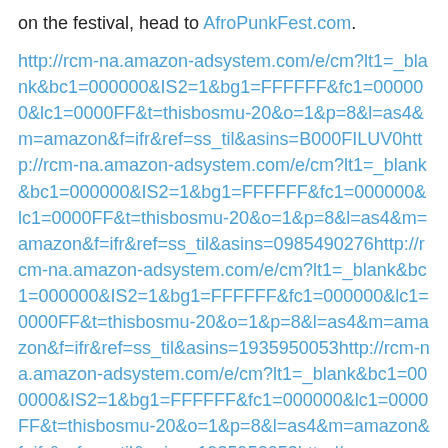on the festival, head to AfroPunkFest.com.
http://rcm-na.amazon-adsystem.com/e/cm?lt1=_blank&bc1=000000&IS2=1&bg1=FFFFFF&fc1=000000&lc1=0000FF&t=thisbosmu-20&o=1&p=8&l=as4&m=amazon&f=ifr&ref=ss_til&asins=B000FILUV0http://rcm-na.amazon-adsystem.com/e/cm?lt1=_blank&bc1=000000&IS2=1&bg1=FFFFFF&fc1=000000&lc1=0000FF&t=thisbosmu-20&o=1&p=8&l=as4&m=amazon&f=ifr&ref=ss_til&asins=0985490276http://rcm-na.amazon-adsystem.com/e/cm?lt1=_blank&bc1=000000&IS2=1&bg1=FFFFFF&fc1=000000&lc1=0000FF&t=thisbosmu-20&o=1&p=8&l=as4&m=amazon&f=ifr&ref=ss_til&asins=1935950053http://rcm-na.amazon-adsystem.com/e/cm?lt1=_blank&bc1=000000&IS2=1&bg1=FFFFFF&fc1=000000&lc1=0000FF&t=thisbosmu-20&o=1&p=8&l=as4&m=amazon&f=ifr&ref=ss_til&asins=1935950053http://rcm-na.amazon-adsystem.com/e/cm?lt1=_blank&bc1=000000&IS2=1&bg1=FFFFFF&fc1=000000&lc1=0000FF&t=thisbosmu-